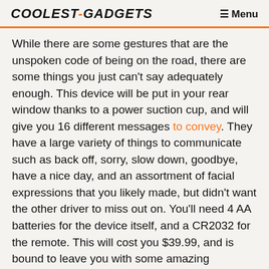COOLEST-GADGETS  ☰ Menu
While there are some gestures that are the unspoken code of being on the road, there are some things you just can't say adequately enough. This device will be put in your rear window thanks to a power suction cup, and will give you 16 different messages to convey. They have a large variety of things to communicate such as back off, sorry, slow down, goodbye, have a nice day, and an assortment of facial expressions that you likely made, but didn't want the other driver to miss out on. You'll need 4 AA batteries for the device itself, and a CR2032 for the remote. This will cost you $39.99, and is bound to leave you with some amazing memories.